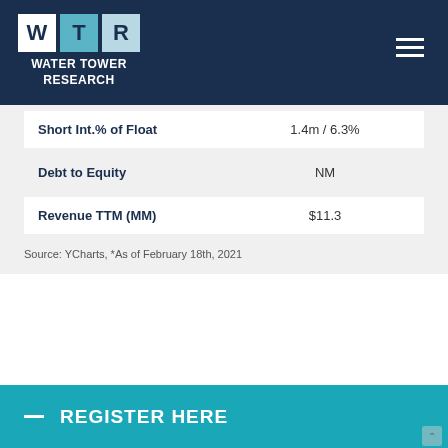WTR WATER TOWER RESEARCH
| Metric | Value |
| --- | --- |
| Short Int.% of Float | 1.4m / 6.3% |
| Debt to Equity | NM |
| Revenue TTM (MM) | $11.3 |
Source: YCharts, *As of February 18th, 2021
REGISTER HERE